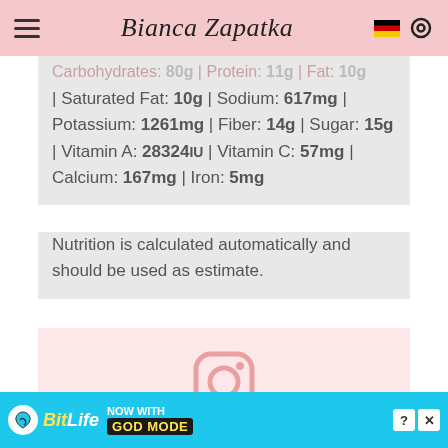Bianca Zapatka
Carbohydrates: 80g | Protein: 11g | Fat: 10g | Saturated Fat: 10g | Sodium: 617mg | Potassium: 1261mg | Fiber: 14g | Sugar: 15g | Vitamin A: 28324IU | Vitamin C: 57mg | Calcium: 167mg | Iron: 5mg
Nutrition is calculated automatically and should be used as estimate.
[Figure (logo): Instagram logo icon in pink/rose color]
Did you make this recipe?